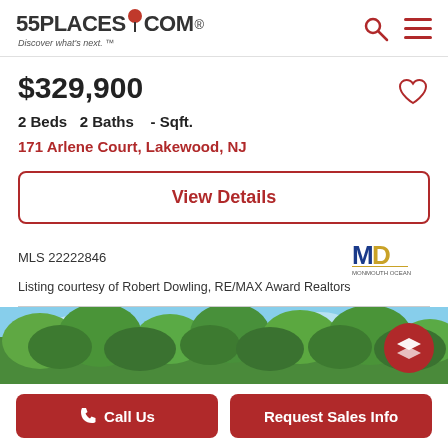[Figure (logo): 55Places.com logo with red map pin and tagline 'Discover what's next.']
$329,900
2 Beds  2 Baths   - Sqft.
171 Arlene Court, Lakewood, NJ
View Details
MLS 22222846
[Figure (logo): Monmouth Ocean MLS logo with MD initials]
Listing courtesy of Robert Dowling, RE/MAX Award Realtors
[Figure (photo): Outdoor photo showing trees with green foliage against blue sky]
Call Us
Request Sales Info